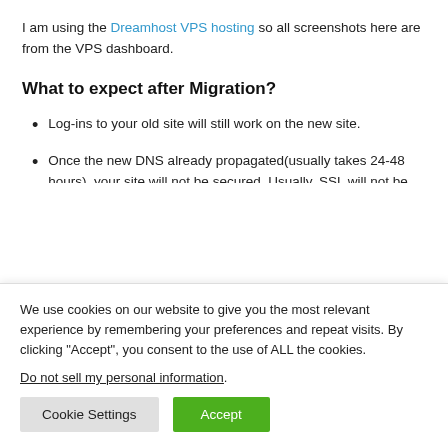I am using the Dreamhost VPS hosting so all screenshots here are from the VPS dashboard.
What to expect after Migration?
Log-ins to your old site will still work on the new site.
Once the new DNS already propagated(usually takes 24-48 hours), your site will not be secured. Usually, SSL will not be added automatically because the site needs to be fully
We use cookies on our website to give you the most relevant experience by remembering your preferences and repeat visits. By clicking “Accept”, you consent to the use of ALL the cookies.
Do not sell my personal information.